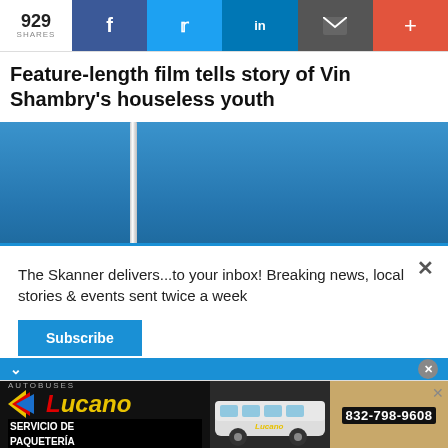929 SHARES | f | t | in | [email] | +
Feature-length film tells story of Vin Shambry's houseless youth
[Figure (photo): Blue sky with a thin vertical pole/antenna in the foreground]
The Skanner delivers...to your inbox! Breaking news, local stories & events sent twice a week
Subscribe
[Figure (advertisement): Autobuses Lucano advertisement showing a bus, boxes, text SERVICIO DE PAQUETERÍA and phone number 832-798-9608]